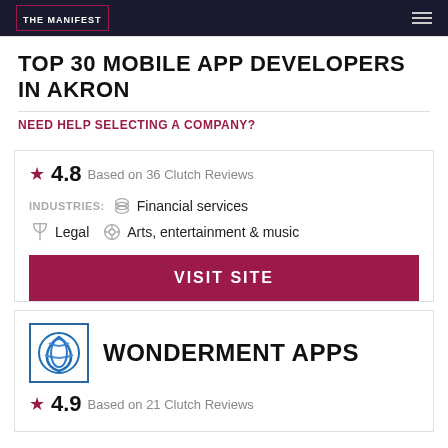THE MANIFEST
TOP 30 MOBILE APP DEVELOPERS IN AKRON
NEED HELP SELECTING A COMPANY?
★ 4.8  Based on 36 Clutch Reviews
INDUSTRIES: Financial services  Legal  Arts, entertainment & music
VISIT SITE
WONDERMENT APPS
★ 4.9  Based on 21 Clutch Reviews